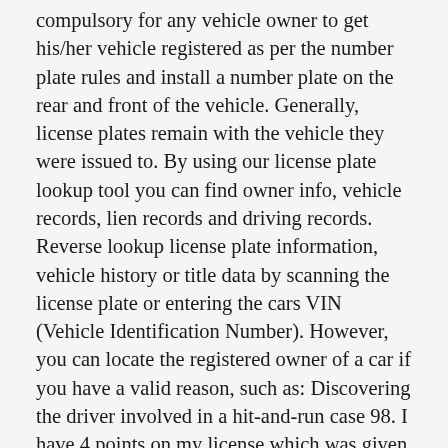compulsory for any vehicle owner to get his/her vehicle registered as per the number plate rules and install a number plate on the rear and front of the vehicle. Generally, license plates remain with the vehicle they were issued to. By using our license plate lookup tool you can find owner info, vehicle records, lien records and driving records. Reverse lookup license plate information, vehicle history or title data by scanning the license plate or entering the cars VIN (Vehicle Identification Number). However, you can locate the registered owner of a car if you have a valid reason, such as: Discovering the driver involved in a hit-and-run case 98. I have 4 points on my license which was given a year back i.e. By using our license plate lookup tool you can find owner info, vehicle records, lien records and driving records. For use in the normal course of business by a, For use in connection with any matter before a, For any other use in response to requests for. Many websites allow you to retrieve the information, although they will charge for the service. At that point, the process no longer requires your involvement. Docusearch is a licensed private